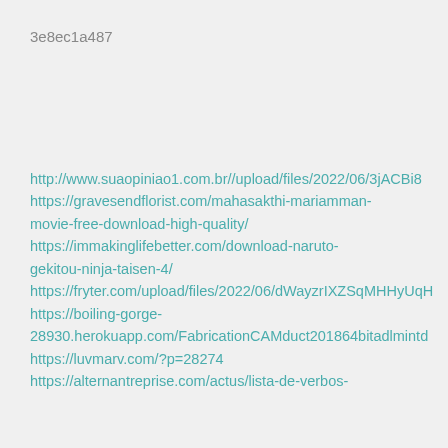3e8ec1a487
http://www.suaopiniao1.com.br//upload/files/2022/06/3jACBi8…
https://gravesendflorist.com/mahasakthi-mariamman-movie-free-download-high-quality/
https://immakinglifebetter.com/download-naruto-gekitou-ninja-taisen-4/
https://fryter.com/upload/files/2022/06/dWayzrIXZSqMHHyUqH…
https://boiling-gorge-28930.herokuapp.com/FabricationCAMduct201864bitadlmintd…
https://luvmarv.com/?p=28274
https://alternantreprise.com/actus/lista-de-verbos-…